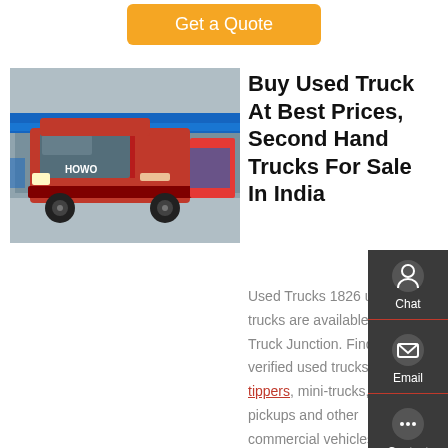Get a Quote
[Figure (photo): A red used truck (HOWO/Sinotruk) parked at a truck yard/depot with blue buildings in the background.]
Buy Used Truck At Best Prices, Second Hand Trucks For Sale In India
Used Trucks 1826 used trucks are available at Truck Junction. Find verified used trucks, tippers, mini-trucks, pickups and other commercial vehicles for sale in India. Find second hand trucks for sale across top brands such as Tata, Eicher, Ashok Leyland, Mahindra
Chat
Email
Contact
Top